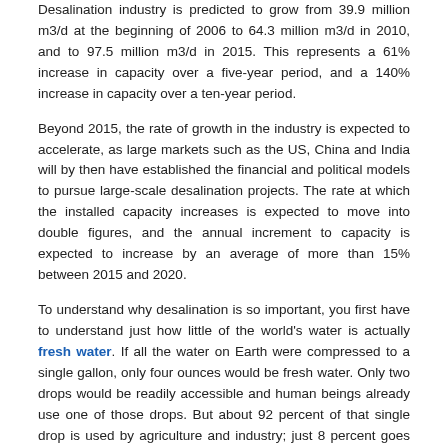Desalination industry is predicted to grow from 39.9 million m3/d at the beginning of 2006 to 64.3 million m3/d in 2010, and to 97.5 million m3/d in 2015. This represents a 61% increase in capacity over a five-year period, and a 140% increase in capacity over a ten-year period.
Beyond 2015, the rate of growth in the industry is expected to accelerate, as large markets such as the US, China and India will by then have established the financial and political models to pursue large-scale desalination projects. The rate at which the installed capacity increases is expected to move into double figures, and the annual increment to capacity is expected to increase by an average of more than 15% between 2015 and 2020.
To understand why desalination is so important, you first have to understand just how little of the world's water is actually fresh water. If all the water on Earth were compressed to a single gallon, only four ounces would be fresh water. Only two drops would be readily accessible and human beings already use one of those drops. But about 92 percent of that single drop is used by agriculture and industry; just 8 percent goes to